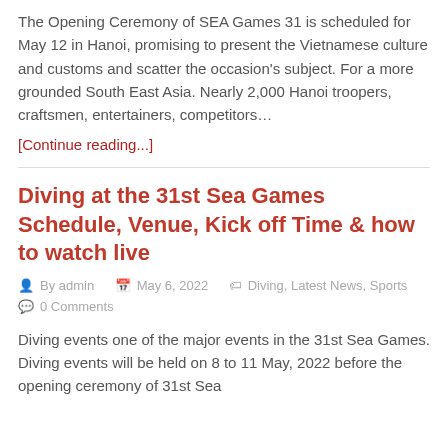The Opening Ceremony of SEA Games 31 is scheduled for May 12 in Hanoi, promising to present the Vietnamese culture and customs and scatter the occasion's subject. For a more grounded South East Asia. Nearly 2,000 Hanoi troopers, craftsmen, entertainers, competitors…
[Continue reading...]
Diving at the 31st Sea Games Schedule, Venue, Kick off Time & how to watch live
By admin  May 6, 2022  Diving, Latest News, Sports  0 Comments
Diving events one of the major events in the 31st Sea Games. Diving events will be held on 8 to 11 May, 2022 before the opening ceremony of 31st Sea